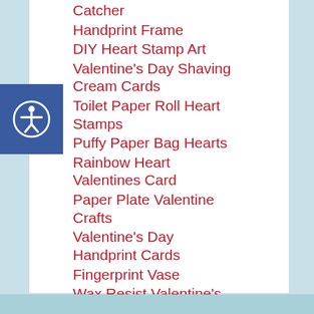Catcher
Handprint Frame
DIY Heart Stamp Art
Valentine's Day Shaving Cream Cards
Toilet Paper Roll Heart Stamps
Puffy Paper Bag Hearts
Rainbow Heart Valentines Card
Paper Plate Valentine Crafts
Valentine's Day Handprint Cards
Fingerprint Vase
Wax Resist Valentine's Day Cards
Valentine's Day Noodle Necklace
Valentines Wreath